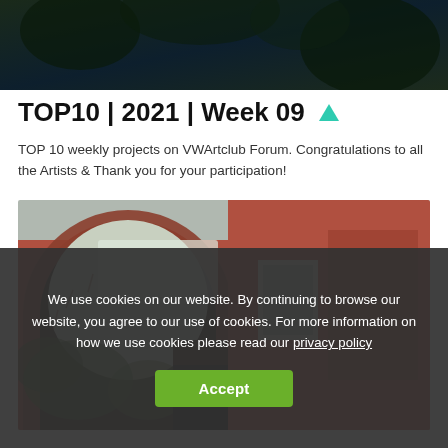[Figure (photo): Dark nature/foliage background image cropped at top]
TOP10 | 2021 | Week 09 ▲
TOP 10 weekly projects on VWArtclub Forum. Congratulations to all the Artists & Thank you for your participation!
[Figure (photo): Architectural photo viewed through a large brick arch opening, showing a red/terracotta building with overgrown vegetation]
We use cookies on our website. By continuing to browse our website, you agree to our use of cookies. For more information on how we use cookies please read our privacy policy